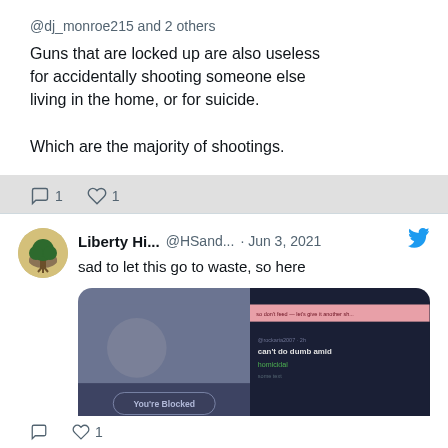@dj_monroe215 and 2 others
Guns that are locked up are also useless for accidentally shooting someone else living in the home, or for suicide.

Which are the majority of shootings.
Liberty Hi... @HSand... · Jun 3, 2021
sad to let this go to waste, so here
[Figure (screenshot): Screenshot of a Twitter 'You're Blocked' message on the left side, and a dark-themed chat or Twitter thread on the right side with green text.]